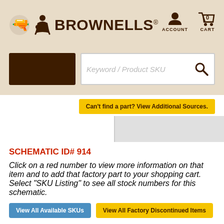[Figure (logo): Brownells logo with gunsmith figure icon and brand name text]
[Figure (screenshot): Account and Cart icons in header]
[Figure (screenshot): Search bar with category dropdown box and keyword/product SKU input with search icon]
Can't find a part? View Additional Sources.
[Figure (screenshot): Tab navigation bar with white and gray tabs]
SCHEMATIC ID# 914
Click on a red number to view more information on that item and to add that factory part to your shopping cart. Select "SKU Listing" to see all stock numbers for this schematic.
View All Available SKUs
View All Factory Discontinued Items